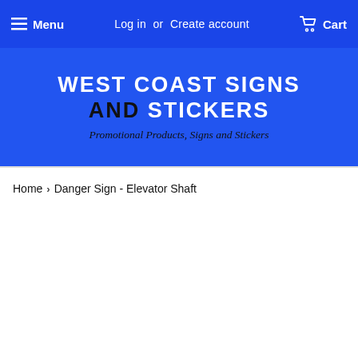Menu  Log in  or  Create account  Cart
WEST COAST SIGNS AND STICKERS
Promotional Products, Signs and Stickers
Home > Danger Sign - Elevator Shaft